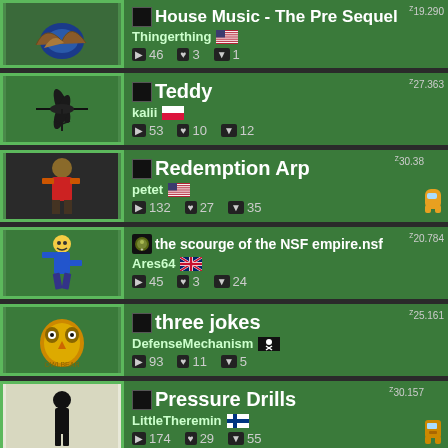House Music - The Pre Sequel | Thingerthing | z19.290 | ▶46 ♥3 ▼1
Teddy | kalii | z27.363 | ▶53 ♥10 ▼12
Redemption Arp | petet | z30.38 | ▶132 ♥27 ▼35
the scourge of the NSF empire.nsf | Ares64 | z20.784 | ▶45 ♥3 ▼24
three jokes | DefenseMechanism | z25.161 | ▶93 ♥11 ▼5
Pressure Drills | LittleTheremin | z30.157 | ▶174 ♥29 ▼55